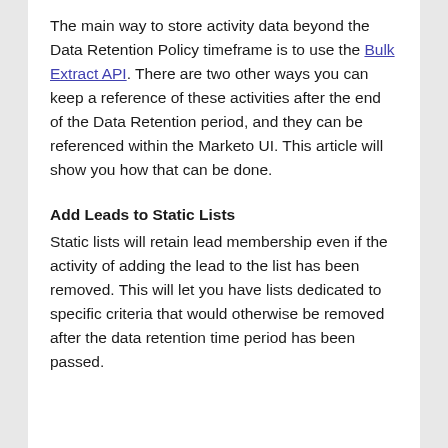The main way to store activity data beyond the Data Retention Policy timeframe is to use the Bulk Extract API. There are two other ways you can keep a reference of these activities after the end of the Data Retention period, and they can be referenced within the Marketo UI. This article will show you how that can be done.
Add Leads to Static Lists
Static lists will retain lead membership even if the activity of adding the lead to the list has been removed. This will let you have lists dedicated to specific criteria that would otherwise be removed after the data retention time period has been passed.